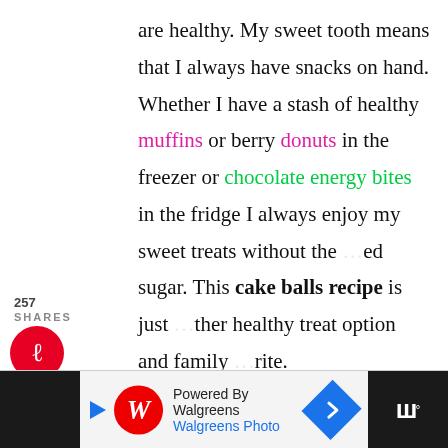are healthy. My sweet tooth means that I always have snacks on hand. Whether I have a stash of healthy muffins or berry donuts in the freezer or chocolate energy bites in the fridge I always enjoy my sweet treats without the added sugar. This cake balls recipe is just another healthy treat option and family favorite.
257 SHARES
[Figure (infographic): Social share buttons: Pinterest (red circle with P icon), Facebook (dark blue circle with f icon), Twitter (blue circle with bird icon), Email (green circle with envelope icon)]
[Figure (screenshot): Recipe image header: 'Deliciously Easy' in black sans-serif, 'VANILLA ALMOND' in large red bold Impact font]
[Figure (infographic): Right side floating buttons: teal heart button, share count 258, share button]
[Figure (infographic): Ad bar at bottom: Walgreens 'Powered By Walgreens / Walgreens Photo' advertisement with Walgreens logo, play arrow, blue navigation diamond, and dark panel on right showing 'w' symbol]